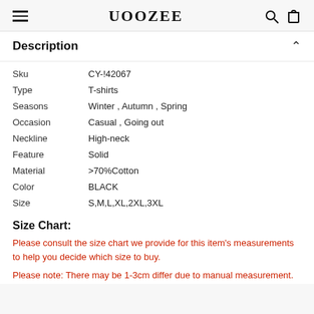UOOZEE
Description
| Attribute | Value |
| --- | --- |
| Sku | CY-!42067 |
| Type | T-shirts |
| Seasons | Winter , Autumn , Spring |
| Occasion | Casual , Going out |
| Neckline | High-neck |
| Feature | Solid |
| Material | >70%Cotton |
| Color | BLACK |
| Size | S,M,L,XL,2XL,3XL |
Size Chart:
Please consult the size chart we provide for this item's measurements to help you decide which size to buy.
Please note: There may be 1-3cm differ due to manual measurement.